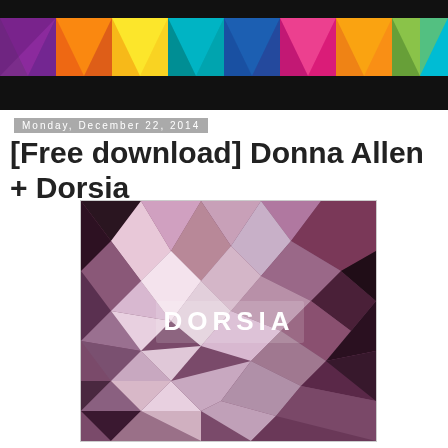[Figure (illustration): Colorful geometric rainbow-colored header banner with triangular mosaic pattern on white/black horizontal bars]
Monday, December 22, 2014
[Free download] Donna Allen + Dorsia
[Figure (photo): Album art for Dorsia — a low-poly geometric crystal/gem pattern in shades of purple, pink, mauve, and dark tones, with the word DORSIA in white text centered on the image]